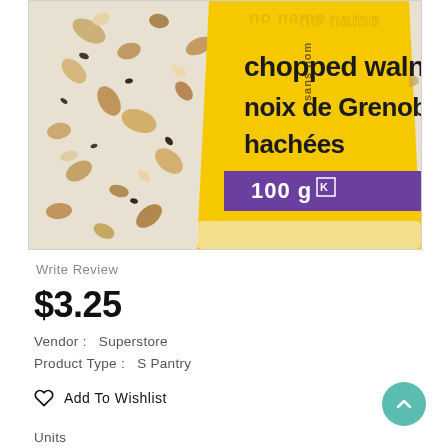[Figure (photo): Product photo of 'no name' chopped walnuts / noix de Grenoble hachées, 100g package in yellow and purple packaging]
Write Review
$3.25
Vendor :   Superstore
Product Type :   S Pantry
Add To Wishlist
Units